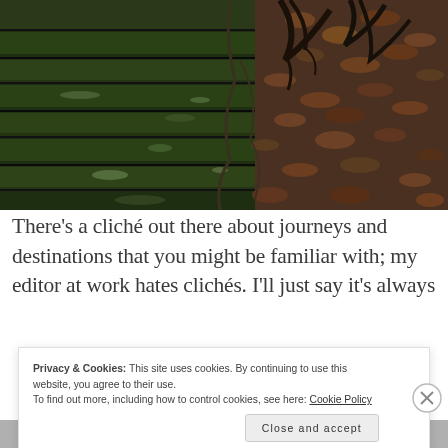[Figure (photo): Photograph of ancient stone steps or wall covered in green moss, with bare tree branches and fallen autumn leaves visible in the upper right area.]
There's a cliché out there about journeys and destinations that you might be familiar with; my editor at work hates clichés. I'll just say it's always
Privacy & Cookies: This site uses cookies. By continuing to use this website, you agree to their use.
To find out more, including how to control cookies, see here: Cookie Policy

Close and accept